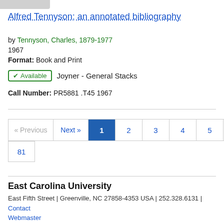Alfred Tennyson; an annotated bibliography
by Tennyson, Charles, 1879-1977
1967
Format: Book and Print
✔ Available   Joyner - General Stacks
Call Number: PR5881 .T45 1967
« Previous  Next »  1  2  3  4  5  ...  80  81
East Carolina University
East Fifth Street | Greenville, NC 27858-4353 USA | 252.328.6131 | Contact Webmaster